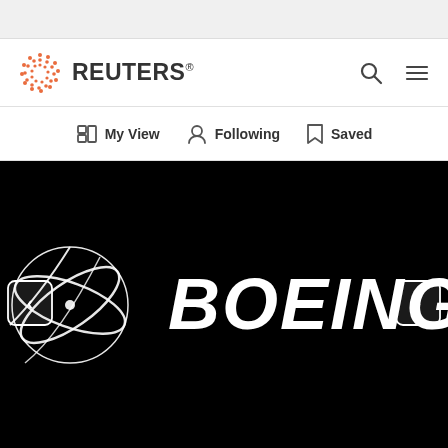[Figure (logo): Reuters logo: orange dot-circle icon with REUTERS wordmark in dark gray, with registered trademark symbol]
[Figure (screenshot): Navigation bar with icons: My View, Following, Saved]
[Figure (photo): Boeing logo on black background — white Boeing wordmark with orbital ring symbol on left. Navigation arrows on both sides.]